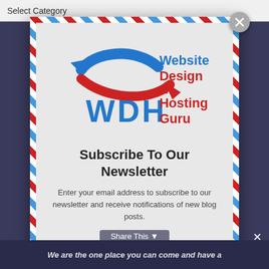Select Category
[Figure (logo): WDH Website Design & Hosting Guru logo with blue and red arrows forming a fish shape and WDH letters below]
Subscribe To Our Newsletter
Enter your email address to subscribe to our newsletter and receive notifications of new blog posts.
Share This
We are the one place you can come and have a